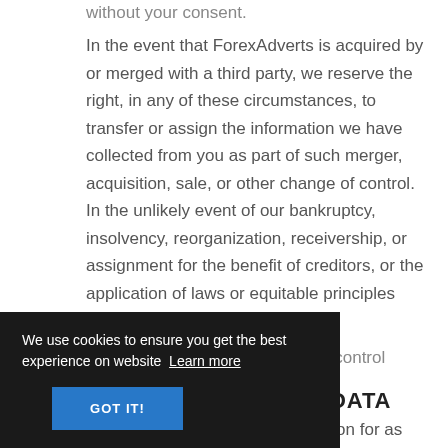without your consent.
In the event that ForexAdverts is acquired by or merged with a third party, we reserve the right, in any of these circumstances, to transfer or assign the information we have collected from you as part of such merger, acquisition, sale, or other change of control. In the unlikely event of our bankruptcy, insolvency, reorganization, receivership, or assignment for the benefit of creditors, or the application of laws or equitable principles affecting creditors' rights generally, we may not be able to control …control
…DATA
We retain your personal information for as
We use cookies to ensure you get the best experience on website  Learn more